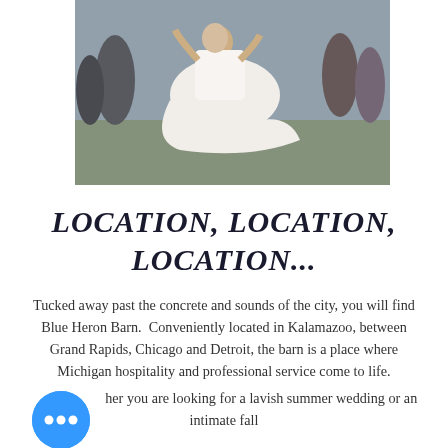[Figure (photo): Wedding photo of a groom lifting a bride in a white dress on a dance floor, guests visible in the background.]
LOCATION, LOCATION, LOCATION...
Tucked away past the concrete and sounds of the city, you will find Blue Heron Barn.  Conveniently located in Kalamazoo, between Grand Rapids, Chicago and Detroit, the barn is a place where Michigan hospitality and professional service come to life.
...her you are looking for a lavish summer wedding or an intimate fall